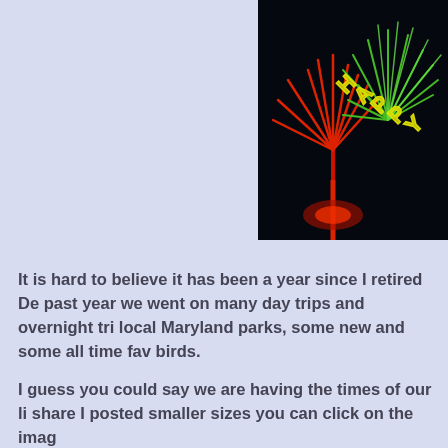[Figure (photo): Fireworks photo on dark background with 'HAPPY' text spelled out in yellow neon-style letters, with red and green fireworks burst]
It is hard to believe it has been a year since I retired De past year we went on many day trips and overnight tri local Maryland parks, some new and some all time fav birds.
I guess you could say we are having the times of our li share I posted smaller sizes you can click on the imag